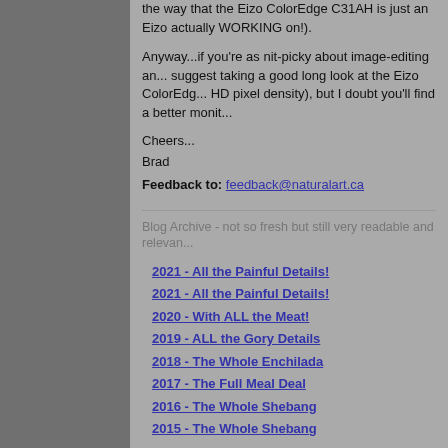...the way that the Eizo ColorEdge C31AH is just an Eizo actually WORKING on!).
Anyway...if you're as nit-picky about image-editing and suggest taking a good long look at the Eizo ColorEdge HD pixel density), but I doubt you'll find a better monit...
Cheers...
Brad
Feedback to: feedback@naturalart.ca
Blog Archive - not so fresh but still very readable and relevan...
2021 - All the Painful Details!
2021 - All the Painful Details!
2020 - With ALL the Meat!
2019 - ALL the Gory Details
2018 - The Whole Enchilada
2017 - The Full Meal Deal
2016 - The Whole Shebang
2015 - The Whole Shebang